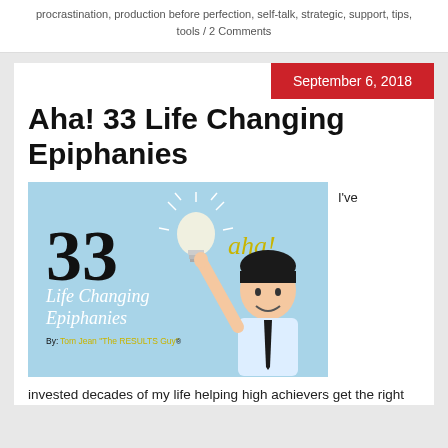procrastination, production before perfection, self-talk, strategic, support, tips, tools / 2 Comments
September 6, 2018
Aha! 33 Life Changing Epiphanies
[Figure (illustration): Blog post thumbnail image showing '33 Life Changing Epiphanies' with a cartoon man pointing up at a glowing light bulb and 'aha!' text on a light blue background. By: Tom Jean 'The RESULTS Guy']
I've
invested decades of my life helping high achievers get the right